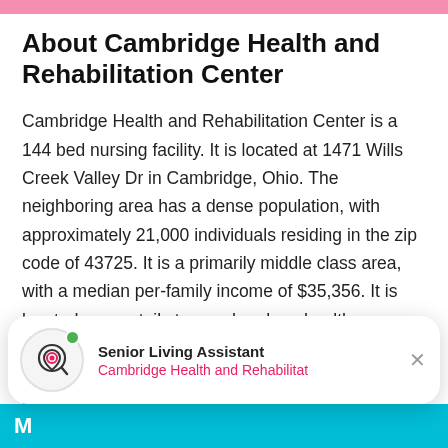About Cambridge Health and Rehabilitation Center
Cambridge Health and Rehabilitation Center is a 144 bed nursing facility. It is located at 1471 Wills Creek Valley Dr in Cambridge, Ohio. The neighboring area has a dense population, with approximately 21,000 individuals residing in the zip code of 43725. It is a primarily middle class area, with a median per-family income of $35,356. It is located near retail stores, churches, health care services, and other local amenities. They're located just 0.54 miles from Southeastern Ohio Regional Medical Center. There are 6 pharmacies within a mile of the community. Also, there are 5 churches within 4 miles, including Abundant
[Figure (screenshot): Senior Living Assistant popup notification showing Cambridge Health and Rehabilitat with a location pin icon and green dot indicator, with a close (×) button]
M